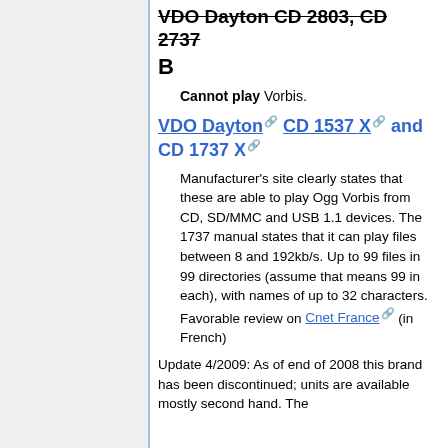VDO Dayton CD 2803, CD 2737
B
Cannot play Vorbis.
VDO Dayton CD 1537 X and CD 1737 X
Manufacturer's site clearly states that these are able to play Ogg Vorbis from CD, SD/MMC and USB 1.1 devices. The 1737 manual states that it can play files between 8 and 192kb/s. Up to 99 files in 99 directories (assume that means 99 in each), with names of up to 32 characters. Favorable review on Cnet France (in French)
Update 4/2009: As of end of 2008 this brand has been discontinued; units are available mostly second hand. The